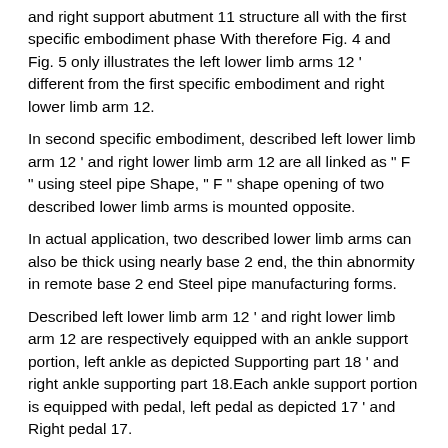and right support abutment 11 structure all with the first specific embodiment phase With therefore Fig. 4 and Fig. 5 only illustrates the left lower limb arms 12 ' different from the first specific embodiment and right lower limb arm 12.
In second specific embodiment, described left lower limb arm 12 ' and right lower limb arm 12 are all linked as " F " using steel pipe Shape, " F " shape opening of two described lower limb arms is mounted opposite.
In actual application, two described lower limb arms can also be thick using nearly base 2 end, the thin abnormity in remote base 2 end Steel pipe manufacturing forms.
Described left lower limb arm 12 ' and right lower limb arm 12 are respectively equipped with an ankle support portion, left ankle as depicted Supporting part 18 ' and right ankle supporting part 18.Each ankle support portion is equipped with pedal, left pedal as depicted 17 ' and Right pedal 17.
Two described ankle support portions are connected with corresponding lower limb arm by respective guide rail slide block secondary 20 respectively, described Guide rail be fixedly connected with corresponding lower limb arm,